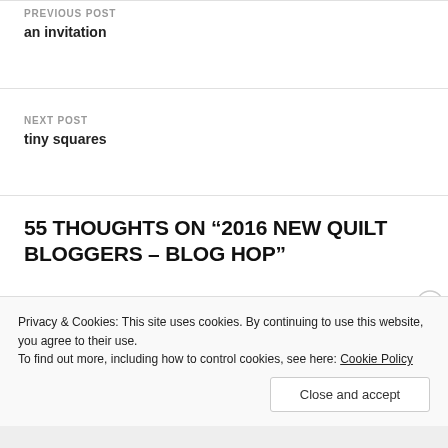PREVIOUS POST
an invitation
NEXT POST
tiny squares
55 THOUGHTS ON “2016 NEW QUILT BLOGGERS – BLOG HOP”
Privacy & Cookies: This site uses cookies. By continuing to use this website, you agree to their use.
To find out more, including how to control cookies, see here: Cookie Policy
Close and accept